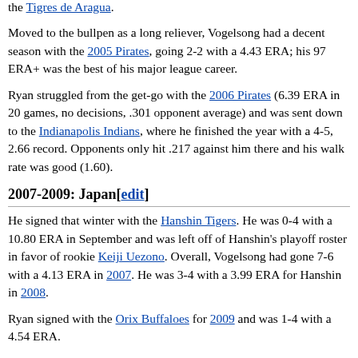the Tigres de Aragua.
Moved to the bullpen as a long reliever, Vogelsong had a decent season with the 2005 Pirates, going 2-2 with a 4.43 ERA; his 97 ERA+ was the best of his major league career.
Ryan struggled from the get-go with the 2006 Pirates (6.39 ERA in 20 games, no decisions, .301 opponent average) and was sent down to the Indianapolis Indians, where he finished the year with a 4-5, 2.66 record. Opponents only hit .217 against him there and his walk rate was good (1.60).
2007-2009: Japan[edit]
He signed that winter with the Hanshin Tigers. He was 0-4 with a 10.80 ERA in September and was left off of Hanshin's playoff roster in favor of rookie Keiji Uezono. Overall, Vogelsong had gone 7-6 with a 4.13 ERA in 2007. He was 3-4 with a 3.99 ERA for Hanshin in 2008.
Ryan signed with the Orix Buffaloes for 2009 and was 1-4 with a 4.54 ERA.
Through 2009, Ryan was 10-22 with a 5.86 ERA (72 ERA+) in 120 major league games, 39-42 in the minors and 11-14 in Japan from 63-85 combined in professional baseball.